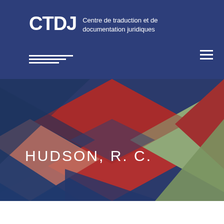[Figure (logo): CTDJ logo with horizontal lines and organization name 'Centre de traduction et de documentation juridiques' on dark blue background]
[Figure (illustration): Abstract geometric diamond/triangle shapes in dark blue, red/crimson, olive green, and salmon/terracotta colors arranged in overlapping pattern]
HUDSON, R. C.